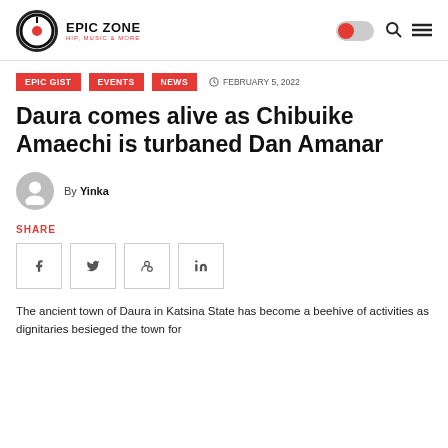EPIC ZONE HIP, MUSIC & MORE
EPIC GIST
EVENTS
NEWS
FEBRUARY 5, 2022
Daura comes alive as Chibuike Amaechi is turbaned Dan Amanar
By Yinka
SHARE
The ancient town of Daura in Katsina State has become a beehive of activities as dignitaries besieged the town for